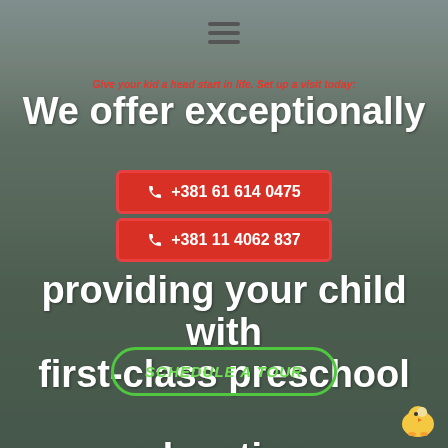[Figure (photo): Background photo of a child drawing/writing, with a green-tinted dark overlay]
Give your kid a head start in life. Set up a visit today:
We offer exceptionally comprehensive packages providing your child with first-class preschool education.
+381 61 614 0475
+381 11 4062 837
SCHEDULE A TOUR
[Figure (logo): Small cartoon duck/chick logo in bottom right corner]